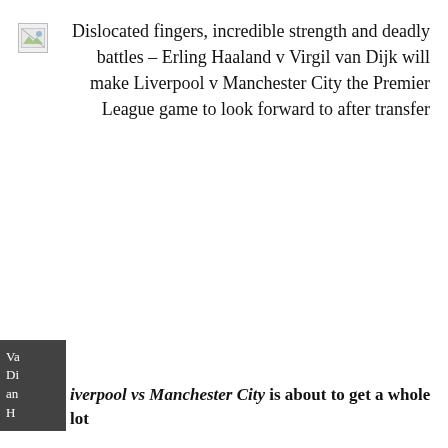Dislocated fingers, incredible strength and deadly battles – Erling Haaland v Virgil van Dijk will make Liverpool v Manchester City the Premier League game to look forward to after transfer
[Figure (photo): Broken/missing image icon placeholder, small square with mountain/landscape icon]
Virgil van Dijk and Haaland Liverpool vs Manchester City is about to get a whole lot